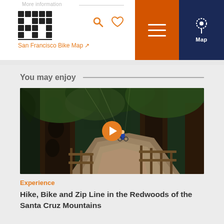More information
San Francisco Bike Map
You may enjoy
[Figure (photo): Forest trail in redwoods with wooden fences on both sides, person cycling in the distance. Orange play button overlay in the center.]
Experience
Hike, Bike and Zip Line in the Redwoods of the Santa Cruz Mountains